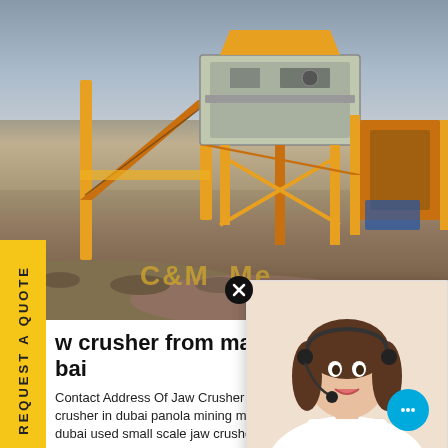[Figure (photo): Large industrial mining/crushing machinery (yellow conveyors and crushers) at a quarry site with gravel mounds and overcast sky. C&M watermark text visible in lower portion.]
[Figure (photo): Customer service agent (woman wearing headset, smiling) shown in a chat popup overlay in the bottom-right area of the page.]
w crusher from machine roll bai
Contact Address Of Jaw Crusher In Dubai M crusher in dubai panola mining machine. m dubai used small scale jaw crushers in dub...